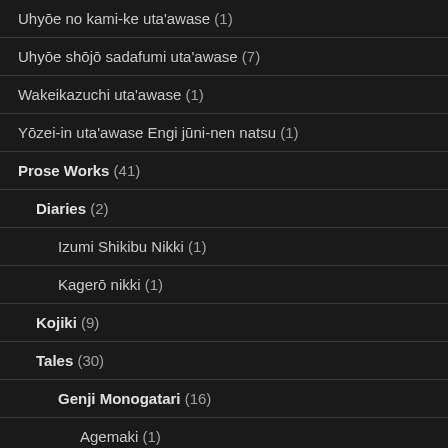Uhyōe no kami-ke uta'awase (1)
Uhyōe shōjō sadafumi uta'awase (7)
Wakeikazuchi uta'awase (1)
Yōzei-in uta'awase Engi jūni-nen natsu (1)
Prose Works (41)
Diaries (2)
Izumi Shikibu Nikki (1)
Kagerō nikki (1)
Kojiki (9)
Tales (30)
Genji Monogatari (16)
Agemaki (1)
Fujibakama (1)